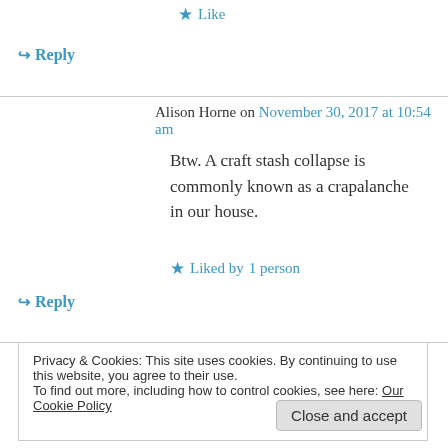★ Like
↪ Reply
Alison Horne on November 30, 2017 at 10:54 am
Btw. A craft stash collapse is commonly known as a crapalanche in our house.
★ Liked by 1 person
↪ Reply
Privacy & Cookies: This site uses cookies. By continuing to use this website, you agree to their use.
To find out more, including how to control cookies, see here: Our Cookie Policy
Close and accept